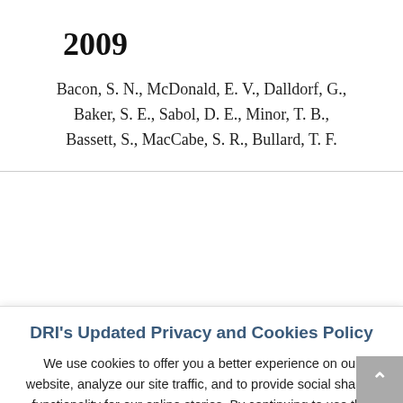2009
Bacon, S. N., McDonald, E. V., Dalldorf, G., Baker, S. E., Sabol, D. E., Minor, T. B., Bassett, S., MacCabe, S. R., Bullard, T. F.
DRI's Updated Privacy and Cookies Policy
We use cookies to offer you a better experience on our website, analyze our site traffic, and to provide social sharing functionality for our online stories. By continuing to use this website, you consent to the use of cookies in accordance with our cookie policy.
ACCEPT   REJECT